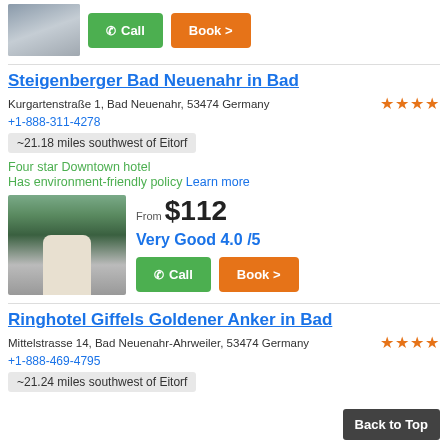[Figure (photo): Partial hotel building photo top left with Call and Book buttons]
Steigenberger Bad Neuenahr in Bad
Kurgartenstraße 1, Bad Neuenahr, 53474 Germany ★★★★
+1-888-311-4278
~21.18 miles southwest of Eitorf
Four star Downtown hotel
Has environment-friendly policy Learn more
[Figure (photo): Photo of Steigenberger Bad Neuenahr hotel building with trees]
From $112
Very Good 4.0 /5
Ringhotel Giffels Goldener Anker in Bad
Mittelstrasse 14, Bad Neuenahr-Ahrweiler, 53474 Germany ★★★★
+1-888-469-4795
~21.24 miles southwest of Eitorf
Back to Top